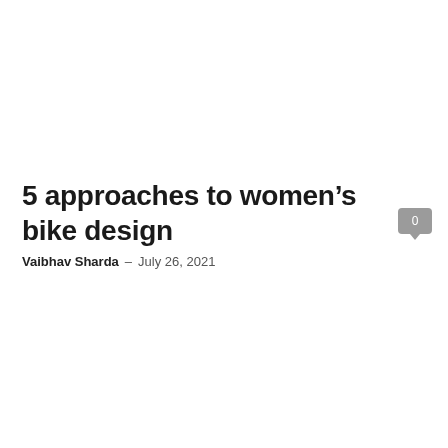5 approaches to women’s bike design
Vaibhav Sharda – July 26, 2021